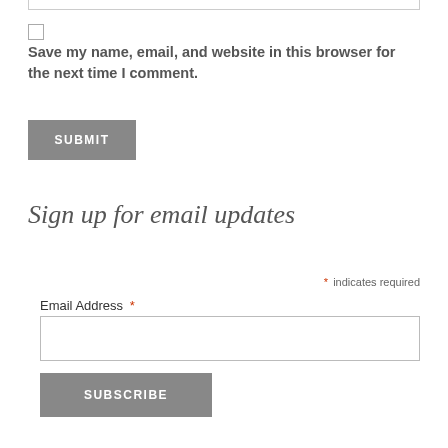[text input field top]
Save my name, email, and website in this browser for the next time I comment.
SUBMIT
Sign up for email updates
* indicates required
Email Address *
SUBSCRIBE